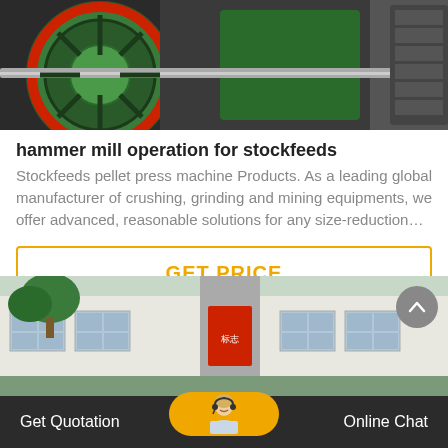[Figure (photo): Close-up photo of green and red industrial hammer mill / crusher machinery with metal shaft and motor]
hammer mill operation for stockfeeds
Stockfeeds pellet press machine Products. As a leading global manufacturer of crushing, grinding and mining equipments, we offer advanced, reasonable solutions for any size-reduction…
GET PRICE
[Figure (photo): Exterior photo of an industrial factory / manufacturing building with trees, red signage, and tiled white walls]
Get Quotation
[Figure (photo): Customer service representative wearing a headset, overlaid on the bottom bar chat button]
Online Chat